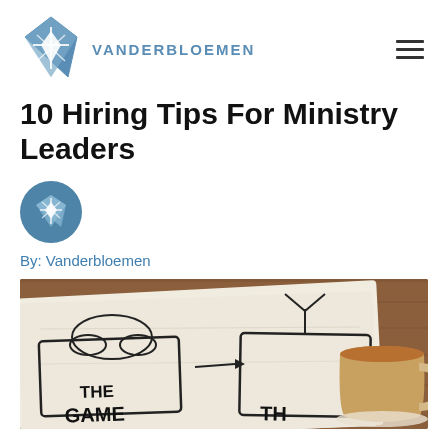VANDERBLOEMEN
10 Hiring Tips For Ministry Leaders
By: Vanderbloemen
[Figure (photo): Photo of a napkin with hand-drawn diagram showing 'THE GAME' text and a cup of coffee on a wooden table background, partially cropped at bottom of page]